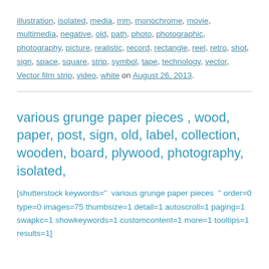illustration, isolated, media, mm, monochrome, movie, multimedia, negative, old, path, photo, photographic, photography, picture, realistic, record, rectangle, reel, retro, shot, sign, space, square, strip, symbol, tape, technology, vector, Vector film strip, video, white on August 26, 2013.
various grunge paper pieces , wood, paper, post, sign, old, label, collection, wooden, board, plywood, photography, isolated,
[shutterstock keywords="  various grunge paper pieces  " order=0 type=0 images=75 thumbsize=1 detail=1 autoscroll=1 paging=1 swapkc=1 showkeywords=1 customcontent=1 more=1 tooltips=1 results=1]